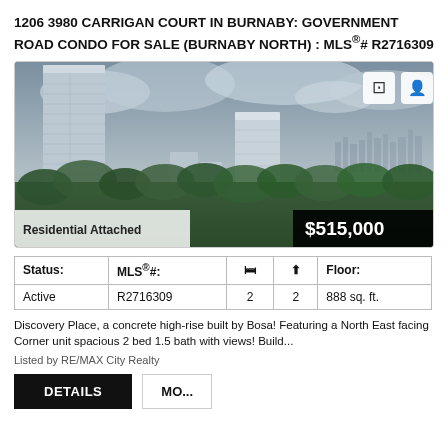1206 3980 CARRIGAN COURT IN BURNABY: GOVERNMENT ROAD CONDO FOR SALE (BURNABY NORTH) : MLS®# R2716309
[Figure (photo): Aerial/elevated view of Burnaby highrise condominiums with city skyline in background, cloudy sky. Overlay text: 'Residential Attached' (bottom left) and '$515,000' (bottom right). Two icon buttons (bookmark, contact) top right.]
| Status: | MLS®#: | 🛏 | ⬆ | Floor: |
| --- | --- | --- | --- | --- |
| Active | R2716309 | 2 | 2 | 888 sq. ft. |
Discovery Place, a concrete high-rise built by Bosa! Featuring a North East facing Corner unit spacious 2 bed 1.5 bath with views! Build...
Listed by RE/MAX City Realty
DETAILS
MO...